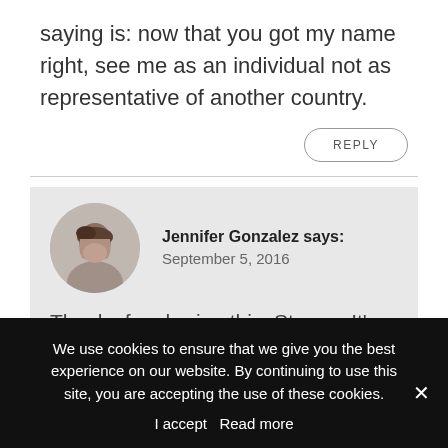saying is: now that you got my name right, see me as an individual not as representative of another country.
REPLY
Jennifer Gonzalez says:
September 5, 2016
[Figure (photo): Circular avatar photo of Jennifer Gonzalez, a woman with short dark hair wearing a gray top]
Thanks for sharing this, Steven. It’s something a lot of well-meaning teachers probably do, thinking they are making the students feel
We use cookies to ensure that we give you the best experience on our website. By continuing to use this site, you are accepting the use of these cookies.
I accept  Read more